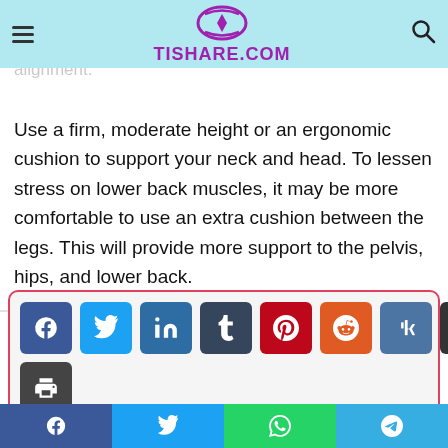TISHARE.COM
The best way to is when your legs and chest remain straight, your can extended but natural alignment. Use a firm, moderate height or an ergonomic cushion to support your neck and head. To lessen stress on lower back muscles, it may be more comfortable to use an extra cushion between the legs. This will provide more support to the pelvis, hips, and lower back.
[Figure (infographic): Social share buttons: Facebook, Twitter, LinkedIn, Tumblr, Pinterest, Reddit, VK, Email, Print]
[Figure (photo): Partial photo of a person with curly hair at bottom of page]
Social share bottom bar: Facebook, Twitter, WhatsApp, Telegram